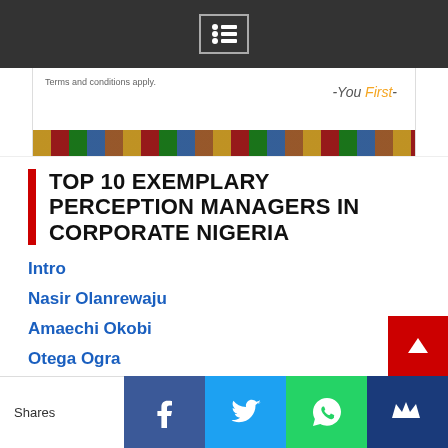Navigation menu bar
[Figure (screenshot): Advertisement banner with 'Terms and conditions apply.' text, '-You First-' slogan in italic with orange 'First', and a colorful bottom strip]
TOP 10 EXEMPLARY PERCEPTION MANAGERS IN CORPORATE NIGERIA
Intro
Nasir Olanrewaju
Amaechi Okobi
Otega Ogra
Abdullahi Abdulazeez
Mohammed Garba
Shade Morgan
Shares [Facebook] [Twitter] [WhatsApp] [Crown/Newsletter]